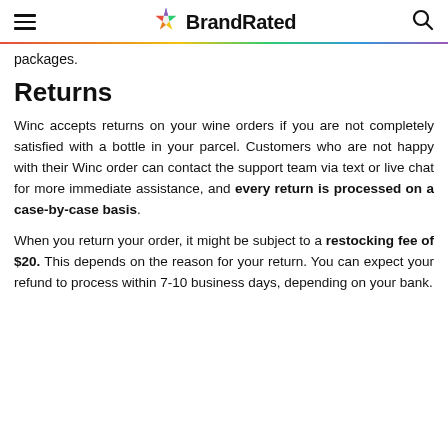BrandRated
packages.
Returns
Winc accepts returns on your wine orders if you are not completely satisfied with a bottle in your parcel. Customers who are not happy with their Winc order can contact the support team via text or live chat for more immediate assistance, and every return is processed on a case-by-case basis.
When you return your order, it might be subject to a restocking fee of $20. This depends on the reason for your return. You can expect your refund to process within 7-10 business days, depending on your bank.